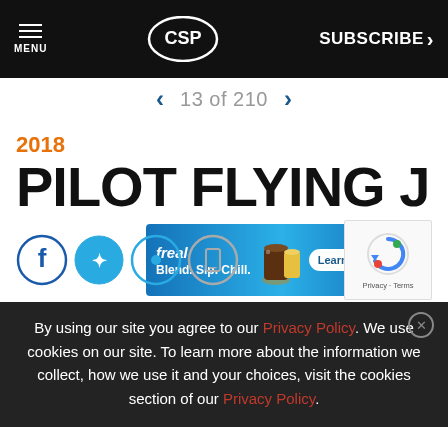MENU | CSP | SUBSCRIBE >
13 of 210
2018
PILOT FLYING J
[Figure (advertisement): freal Blend. Sip. Chill. ad banner with Learn More button on blue gradient background]
By using our site you agree to our Privacy Policy. We use cookies on our site. To learn more about the information we collect, how we use it and your choices, visit the cookies section of our Privacy Policy.